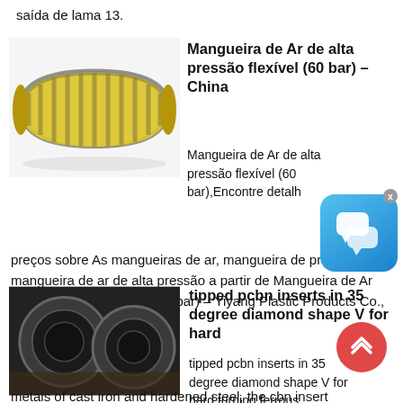saída de lama 13.
[Figure (photo): Yellow and grey spiral reinforced flexible hose]
Mangueira de Ar de alta pressão flexível (60 bar) – China
Mangueira de Ar de alta pressão flexível (60 bar),Encontre detalhes e preços sobre As mangueiras de ar, mangueira de pressão e a mangueira de ar de alta pressão a partir de Mangueira de Ar de alta pressão flexível (60 bar) – Yiyang Plastic Products Co., Ltd.
[Figure (photo): Two circular pipe cross-sections held by hands]
tipped pcbn inserts in 35 degree diamond shape V for hard
tipped pcbn inserts in 35 degree diamond shape V for hard turning ferrous metals of cast iron and hardened steel, the cbn insert